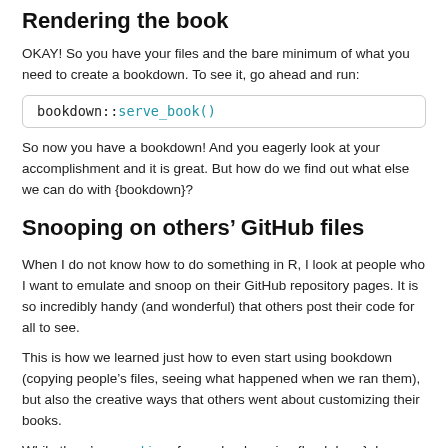Rendering the book
OKAY! So you have your files and the bare minimum of what you need to create a bookdown. To see it, go ahead and run:
So now you have a bookdown! And you eagerly look at your accomplishment and it is great. But how do we find out what else we can do with {bookdown}?
Snooping on others’ GitHub files
When I do not know how to do something in R, I look at people who I want to emulate and snoop on their GitHub repository pages. It is so incredibly handy (and wonderful) that others post their code for all to see.
This is how we learned just how to even start using bookdown (copying people’s files, seeing what happened when we ran them), but also the creative ways that others went about customizing their books.
While there’s an archive of many books using {bookdown}, here are